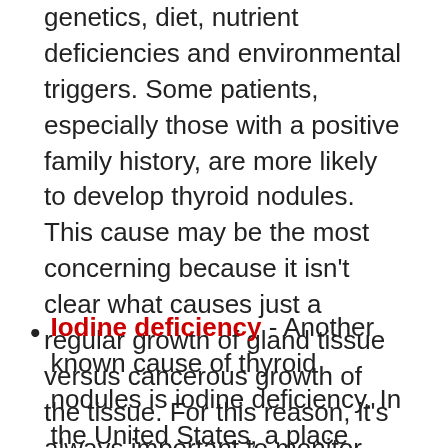genetics, diet, nutrient deficiencies and environmental triggers. Some patients, especially those with a positive family history, are more likely to develop thyroid nodules. This cause may be the most concerning because it isn't clear what causes just a regular growth of gland tissue versus cancerous growth of the tissue. For this reason, it's always important to monitor your nodule size over time.
Iodine deficiency - Another known cause of thyroid nodules is iodine deficiency. In the United States, a place considered to be iodine "replete", this cause is felt to be uncommon. A closer